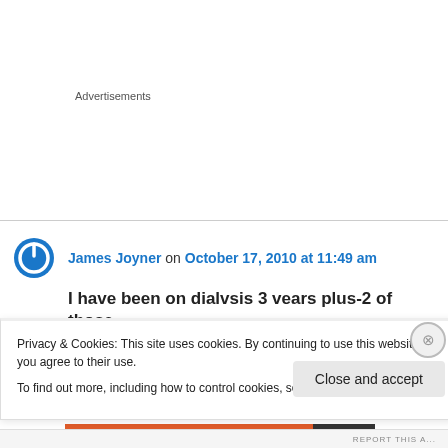Advertisements
James Joyner on October 17, 2010 at 11:49 am
I have been on dialvsis 3 vears plus-2 of those
Privacy & Cookies: This site uses cookies. By continuing to use this website, you agree to their use.
To find out more, including how to control cookies, see here: Cookie Policy
Close and accept